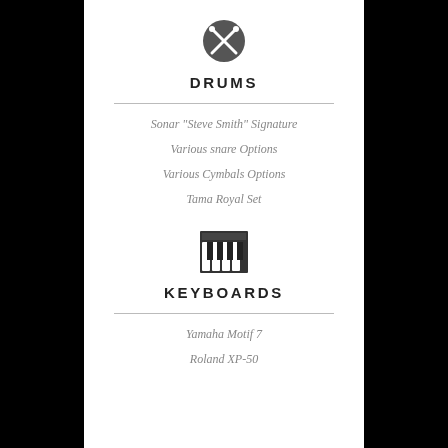[Figure (illustration): Drum sticks / percussion icon — circular logo with crossed drumsticks]
DRUMS
Sonar "Steve Smith" Signature
Various snare Options
Various Cymbals Options
Tama Royal Set
[Figure (illustration): Piano/keyboard icon — black and white keys silhouette]
KEYBOARDS
Yamaha Motif 7
Roland XP-50